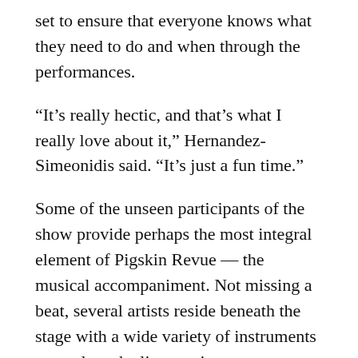set to ensure that everyone knows what they need to do and when through the performances.
“It’s really hectic, and that’s what I really love about it,” Hernandez-Simeonidis said. “It’s just a fun time.”
Some of the unseen participants of the show provide perhaps the most integral element of Pigskin Revue — the musical accompaniment. Not missing a beat, several artists reside beneath the stage with a wide variety of instruments to produce the live music, indistinguishable from their original recordings.
The man behind the drum set is Virgina resident Scott Amman. Amman has been the drummer in All-University Sing and Pigskin Revue for the past 24 years, only missing a few performances since he was a graduate student in